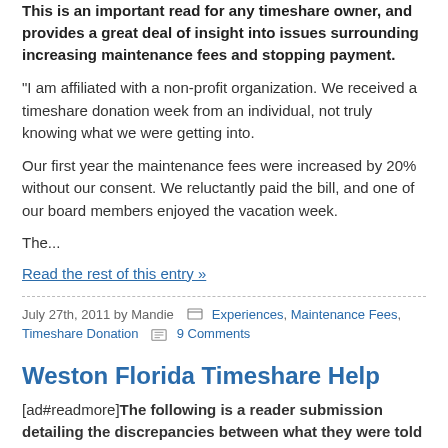This is an important read for any timeshare owner, and provides a great deal of insight into issues surrounding increasing maintenance fees and stopping payment.
"I am affiliated with a non-profit organization. We received a timeshare donation week from an individual, not truly knowing what we were getting into.
Our first year the maintenance fees were increased by 20% without our consent. We reluctantly paid the bill, and one of our board members enjoyed the vacation week.
The...
Read the rest of this entry »
July 27th, 2011 by Mandie  Experiences, Maintenance Fees, Timeshare Donation  9 Comments
Weston Florida Timeshare Help
[ad#readmore]The following is a reader submission detailing the discrepancies between what they were told vs. what they actually received at a timeshare presentation in Weston, Florida (the actual resort